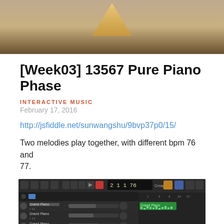[Figure (photo): Top portion of a photo showing a triangular/pyramid shape with warm brown/tan background tones]
[Week03] 13567 Pure Piano Phase
INTERACTIVE MUSIC
February 17, 2016
http://jsfiddle.net/sunwangshu/9bvp37p0/15/
Two melodies play together, with different bpm 76 and 77.
[Figure (screenshot): Screenshot of a digital audio workstation (DAW) interface showing multiple Grand Piano tracks with MIDI clips in a dark-themed sequencer view, with transport controls visible at the top]